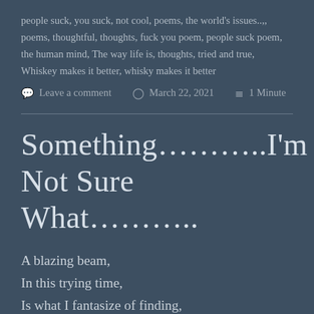people suck, you suck, not cool, poems, the world's issues..,, poems, thoughtful, thoughts, fuck you poem, people suck poem, the human mind, The way life is, thoughts, tried and true, Whiskey makes it better, whisky makes it better
Leave a comment   March 22, 2021   1 Minute
Something………..I'm Not Sure What………..
A blazing beam,
In this trying time,
Is what I fantasize of finding,
But I guess the fucker is hiding.